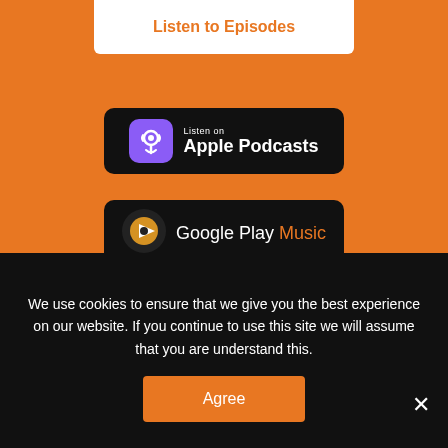Listen to Episodes
[Figure (logo): Listen on Apple Podcasts badge — black rounded rectangle with purple podcast icon and white text]
[Figure (logo): Listen on Google Play Music badge — black rounded rectangle with Google Play triangle logo and white/orange text]
[Figure (logo): Available on SoundCloud badge — black rounded rectangle with orange SoundCloud logo and white text]
[Figure (logo): Listen on Spotify badge — black rounded rectangle with green Spotify logo and white text]
We use cookies to ensure that we give you the best experience on our website. If you continue to use this site we will assume that you are understand this.
Agree